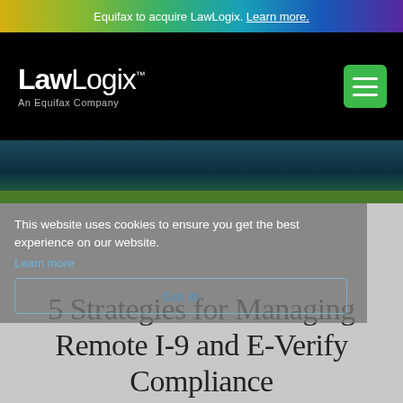Equifax to acquire LawLogix. Learn more.
[Figure (logo): LawLogix logo with 'An Equifax Company' subtitle on black navigation bar, with green hamburger menu button on right]
[Figure (photo): Dark teal hero banner image with green strip at bottom]
This website uses cookies to ensure you get the best experience on our website.
Learn more
Got it!
5 Strategies for Managing Remote I-9 and E-Verify Compliance